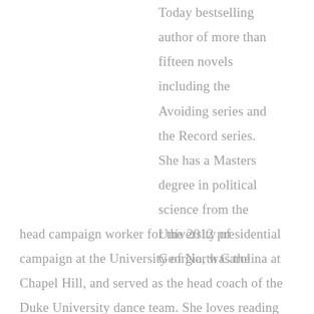Today bestselling author of more than fifteen novels including the Avoiding series and the Record series. She has a Masters degree in political science from the University of Georgia, was the head campaign worker for the 2012 presidential campaign at the University of North Carolina at Chapel Hill, and served as the head coach of the Duke University dance team. She loves reading fantasy novels, geeking out over Star Wars, binge-